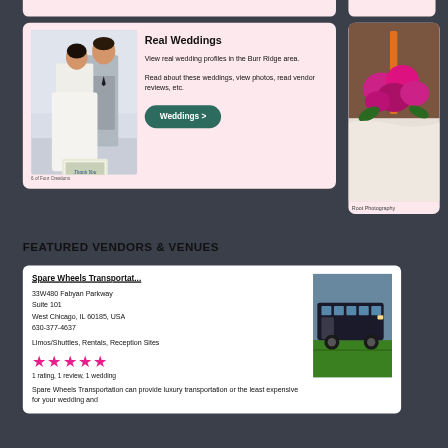[Figure (photo): Wedding couple kissing, bride holding a Thank You sign — photo credit: 6 of Four Creations]
Real Weddings
View real wedding profiles in the Burr Ridge area.
Read about these weddings, view photos, read vendor reviews, etc.
Weddings >
6 of Four Creations
[Figure (photo): Floral bouquet with orange ribbon on white fabric — photo credit: Root Photography]
Root Photography
FEATURED VENDORS & VENUES
Spare Wheels Transportat...
33W480 Fabyan Parkway
Suite 101
West Chicago, IL 60185, USA
630-377-4637
Limos/Shuttles, Rentals, Reception Sites
[Figure (photo): Party bus / limo vehicle on green grass]
★★★★★
1 rating, 1 review, 1 wedding
Spare Wheels Transportation can provide luxury transportation or the least expensive for your wedding and